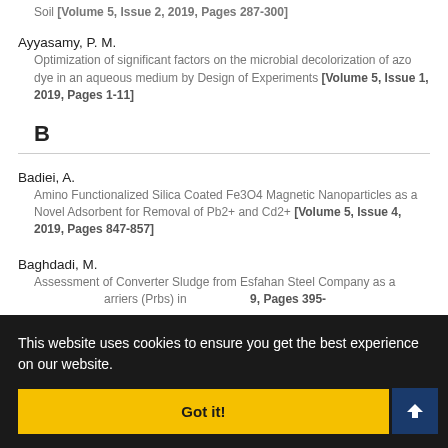Soil [Volume 5, Issue 2, 2019, Pages 287-300]
Ayyasamy, P. M.
Optimization of significant factors on the microbial decolorization of azo dye in an aqueous medium by Design of Experiments [Volume 5, Issue 1, 2019, Pages 1-11]
B
Badiei, A.
Amino Functionalized Silica Coated Fe3O4 Magnetic Nanoparticles as a Novel Adsorbent for Removal of Pb2+ and Cd2+ [Volume 5, Issue 4, 2019, Pages 847-857]
Baghdadi, M.
Assessment of Converter Sludge from Esfahan Steel Company as a ...arriers (Prbs) in ...9, Pages 395-
...nanoparticles for ...e Specifications
Bahramifar, N.
This website uses cookies to ensure you get the best experience on our website.
Got it!